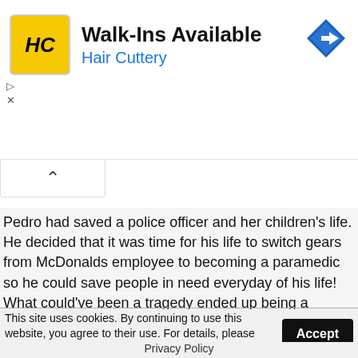[Figure (logo): Hair Cuttery advertisement banner with HC logo, 'Walk-Ins Available' headline, and navigation icon]
Pedro had saved a police officer and her children's life. He decided that it was time for his life to switch gears from McDonalds employee to becoming a paramedic so he could save people in need everyday of his life! What could've been a tragedy ended up being a wonderful happy ending thanks to Pedro!
This site uses cookies. By continuing to use this website, you agree to their use. For details, please check our Privacy Policy.
Privacy Policy